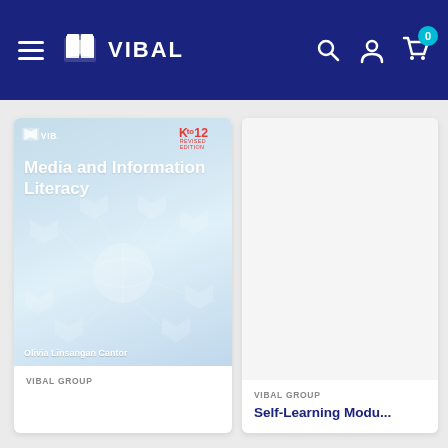[Figure (screenshot): Vibal Group e-commerce website navigation bar with dark blue background, hamburger menu icon, Vibal logo with book icon, search icon, user icon, and cart icon with badge showing 0]
[Figure (photo): Book cover for 'Media and Information Literacy' by Olivia Linsangan Cantor, light blue cover with network/globe graphic, Vibal and K to 12 logos]
VIBAL GROUP
VIBAL GROUP
Self-Learning Modu...